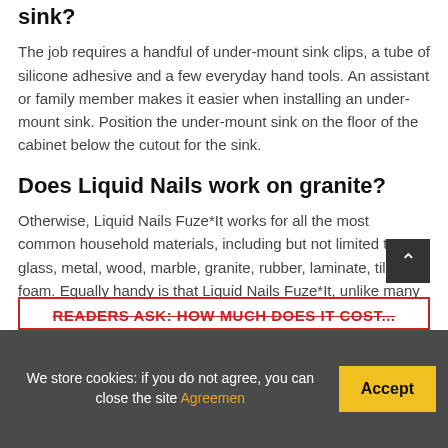sink?
The job requires a handful of under-mount sink clips, a tube of silicone adhesive and a few everyday hand tools. An assistant or family member makes it easier when installing an under-mount sink. Position the under-mount sink on the floor of the cabinet below the cutout for the sink.
Does Liquid Nails work on granite?
Otherwise, Liquid Nails Fuze*It works for all the most common household materials, including but not limited to glass, metal, wood, marble, granite, rubber, laminate, tile, and foam. Equally handy is that Liquid Nails Fuze*It, unlike many other adhesives, remains effective even when it's in contact with water.
READERS ASK: HOW MUCH DOES IT COST...
We store cookies: if you do not agree, you can close the site Agreemen